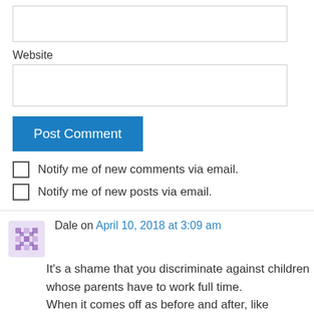Website
Post Comment
Notify me of new comments via email.
Notify me of new posts via email.
Dale on April 10, 2018 at 3:09 am
It's a shame that you discriminate against children whose parents have to work full time. When it comes off as before and after, similar...